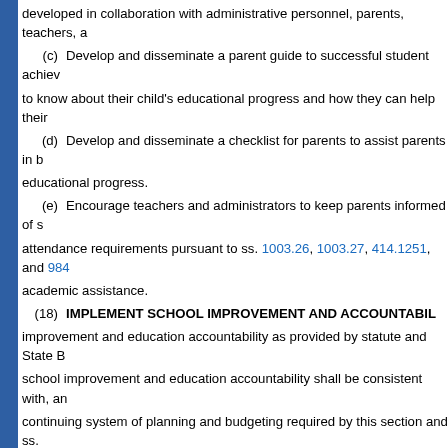developed in collaboration with administrative personnel, parents, teachers, a
(c) Develop and disseminate a parent guide to successful student achievement to know about their child's educational progress and how they can help their
(d) Develop and disseminate a checklist for parents to assist parents in becoming educational progress.
(e) Encourage teachers and administrators to keep parents informed of student attendance requirements pursuant to ss. 1003.26, 1003.27, 414.1251, and 984 academic assistance.
(18) IMPLEMENT SCHOOL IMPROVEMENT AND ACCOUNTABILITY improvement and education accountability as provided by statute and State Board school improvement and education accountability shall be consistent with, and continuing system of planning and budgeting required by this section and ss. system of school improvement and education accountability shall comply with 1008.345, and 1008.385 and include the following:
(a) School improvement plans.—The district school board shall annually new, amended, or continuation school improvement plan for each school in the or "F"; has a significant gap in achievement on statewide, standardized assessments by one or more student subgroups, as defined in the federal Elementary and Secondary U.S.C. s. 6311(b)(2)(C)(v)(II); has not significantly increased the percentage assessments; has not significantly increased the percentage of students demonstrating 1008.34 and as calculated under s. 1008.34(3)(b), who passed statewide, standardized as requiring instructional supports under the Reading Achievement Initiative